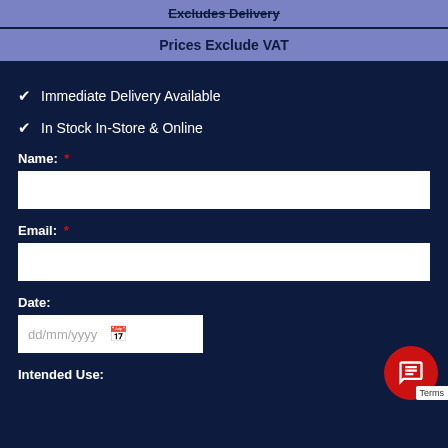Excludes Delivery
Prices Exclude VAT
✔ Immediate Delivery Available
✔ In Stock In-Store & Online
Name: *
Email: *
Date:
dd/mm/yyyy
Intended Use: